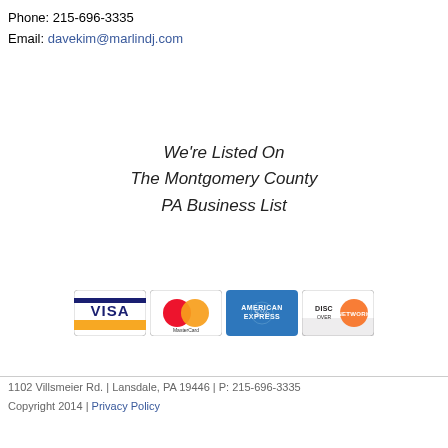Phone: 215-696-3335
Email: davekim@marlindj.com
We're Listed On
The Montgomery County
PA Business List
[Figure (illustration): Four credit card logos: Visa, MasterCard, American Express, Discover]
1102 Villsmeier Rd. | Lansdale, PA 19446 | P: 215-696-3335
Copyright 2014 | Privacy Policy